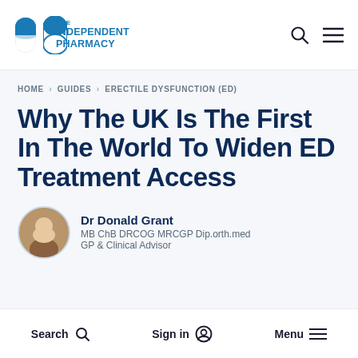The Independent Pharmacy
HOME > GUIDES > ERECTILE DYSFUNCTION (ED)
Why The UK Is The First In The World To Widen ED Treatment Access
Dr Donald Grant
MB ChB DRCOG MRCGP Dip.orth.med
GP & Clinical Advisor
Search  Sign in  Menu